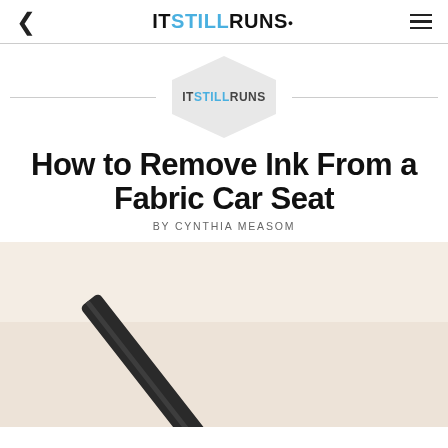IT STILL RUNS
[Figure (logo): ItStillRuns hexagon logo with brand name]
How to Remove Ink From a Fabric Car Seat
BY CYNTHIA MEASOM
[Figure (photo): Close-up photo of a ballpoint pen tip on a light background]